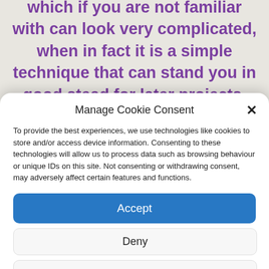which if you are not familiar with can look very complicated, when in fact it is a simple technique that can stand you in good stead for later projects.
Manage Cookie Consent
To provide the best experiences, we use technologies like cookies to store and/or access device information. Consenting to these technologies will allow us to process data such as browsing behaviour or unique IDs on this site. Not consenting or withdrawing consent, may adversely affect certain features and functions.
Accept
Deny
View preferences
Cookie Policy   About Dizzy Tyke